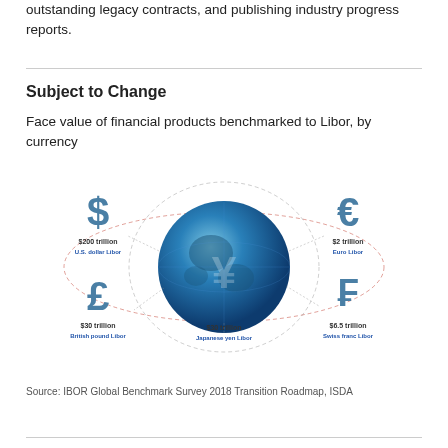outstanding legacy contracts, and publishing industry progress reports.
Subject to Change
Face value of financial products benchmarked to Libor, by currency
[Figure (infographic): Globe with currency symbols and Libor values: $200 trillion U.S. dollar Libor, €2 trillion Euro Libor, £30 trillion British pound Libor, ¥30 trillion Japanese yen Libor, ₣6.5 trillion Swiss franc Libor]
Source: IBOR Global Benchmark Survey 2018 Transition Roadmap, ISDA